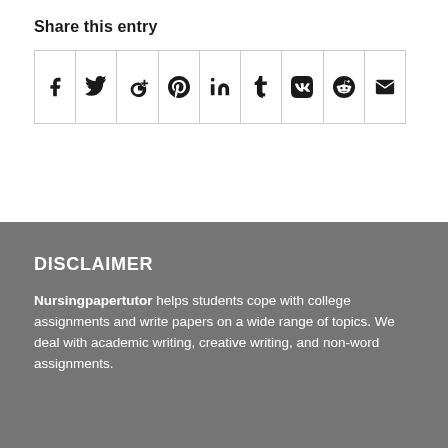Share this entry
[Figure (other): Social share icons row: Facebook, Twitter, Google+, Pinterest, LinkedIn, Tumblr, VK, Reddit, Email]
DISCLAIMER
Nursingpapertutor helps students cope with college assignments and write papers on a wide range of topics. We deal with academic writing, creative writing, and non-word assignments.